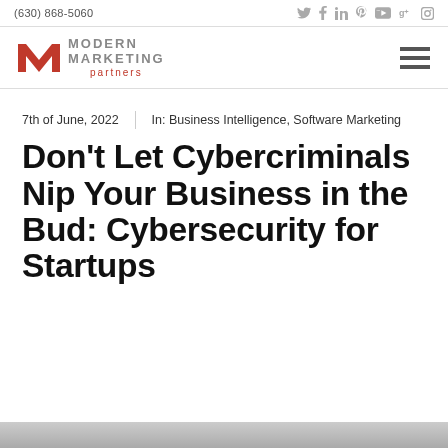(630) 868-5060
[Figure (logo): Modern Marketing Partners logo with red M icon and gray uppercase text MODERN MARKETING with red lowercase 'partners']
7th of June, 2022   In: Business Intelligence, Software Marketing
Don't Let Cybercriminals Nip Your Business in the Bud: Cybersecurity for Startups
[Figure (photo): Partial view of an image at the bottom of the page, mostly gray]